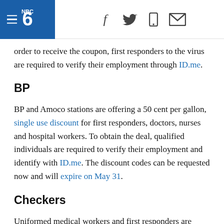NBC logo header with hamburger menu, social icons: facebook, twitter, mobile, email
order to receive the coupon, first responders to the virus are required to verify their employment through ID.me.
BP
BP and Amoco stations are offering a 50 cent per gallon, single use discount for first responders, doctors, nurses and hospital workers. To obtain the deal, qualified individuals are required to verify their employment and identify with ID.me. The discount codes can be requested now and will expire on May 31.
Checkers
Uniformed medical workers and first responders are eligible for a free medium order of the company's $50...